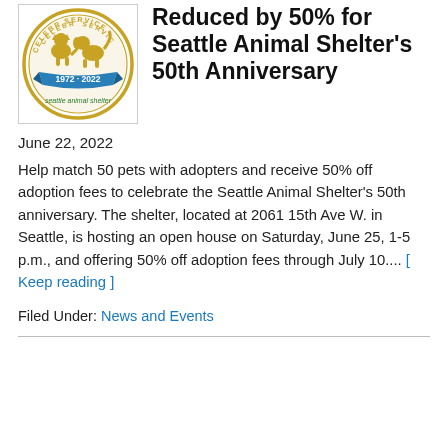[Figure (logo): Seattle Animal Shelter 50th anniversary logo. Circular seal with animals (cat and dog silhouettes), text 'CELEBRATING SERVICE', '1972-2022' on a blue banner, and 'seattle animal shelter' below in green.]
Reduced by 50% for Seattle Animal Shelter's 50th Anniversary
June 22, 2022
Help match 50 pets with adopters and receive 50% off adoption fees to celebrate the Seattle Animal Shelter's 50th anniversary. The shelter, located at 2061 15th Ave W. in Seattle, is hosting an open house on Saturday, June 25, 1-5 p.m., and offering 50% off adoption fees through July 10.... [ Keep reading ]
Filed Under: News and Events